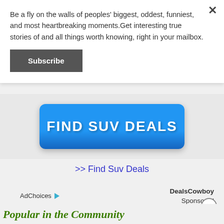Be a fly on the walls of peoples' biggest, oddest, funniest, and most heartbreaking moments.Get interesting true stories of and all things worth knowing, right in your mailbox.
Subscribe
[Figure (other): Blue rounded rectangle button with white bold text 'FIND SUV DEALS']
>> Find Suv Deals
AdChoices
DealsCowboy
Sponsored
Popular in the Community